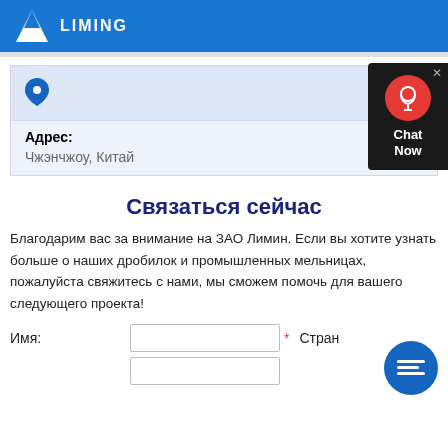LIMING
[Figure (logo): Liming company logo with blue background, white triangular mountain icon and LIMING text]
Адрес:
Чжэнчжоу, Китай
[Figure (infographic): Chat Now widget with red circle headset icon on dark background]
Связаться сейчас
Благодарим вас за внимание на ЗАО Лимин. Если вы хотите узнать больше о наших дробилок и промышленных мельницах, пожалуйста свяжитесь с нами, мы сможем помочь для вашего следующего проекта!
Имя:
Стран